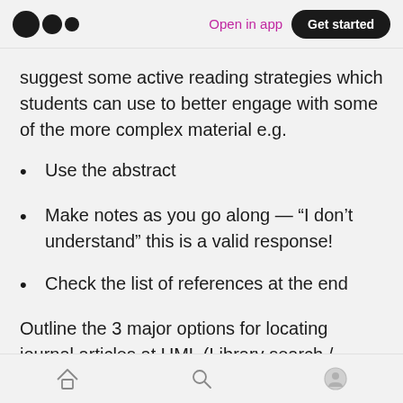Open in app  Get started
suggest some active reading strategies which students can use to better engage with some of the more complex material e.g.
Use the abstract
Make notes as you go along — “I don’t understand” this is a valid response!
Check the list of references at the end
Outline the 3 major options for locating journal articles at UML (Library search / Google Scholar /
home  search  profile